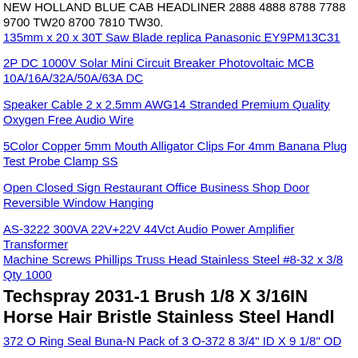NEW HOLLAND BLUE CAB HEADLINER 2888 4888 8788 7788 9700 TW20 8700 7810 TW30.
135mm x 20 x 30T Saw Blade replica Panasonic EY9PM13C31
2P DC 1000V Solar Mini Circuit Breaker Photovoltaic MCB 10A/16A/32A/50A/63A DC
Speaker Cable 2 x 2.5mm AWG14 Stranded Premium Quality Oxygen Free Audio Wire
5Color Copper 5mm Mouth Alligator Clips For 4mm Banana Plug Test Probe Clamp SS
Open Closed Sign Restaurant Office Business Shop Door Reversible Window Hanging
AS-3222 300VA 22V+22V 44Vct Audio Power Amplifier Transformer
Machine Screws Phillips Truss Head Stainless Steel #8-32 x 3/8 Qty 1000
Techspray 2031-1 Brush 1/8 X 3/16IN Horse Hair Bristle Stainless Steel Handl
372 O Ring Seal Buna-N Pack of 3 O-372 8 3/4" ID X 9 1/8" OD